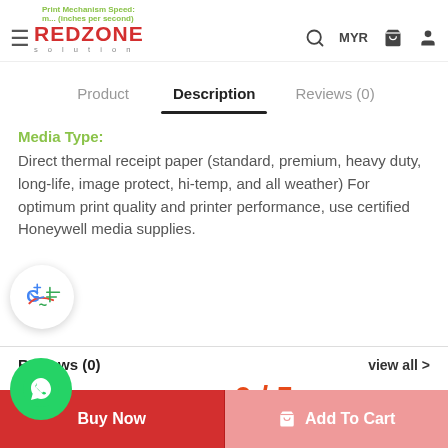RedZone Solution — Print Mechanism Speed: (inches per second) — MYR
Product | Description | Reviews (0)
Media Type:
Direct thermal receipt paper (standard, premium, heavy duty, long-life, image protect, hi-temp, and all weather) For optimum print quality and printer performance, use certified Honeywell media supplies.
Reviews (0)   view all >
0 / 5
(0 reviews)